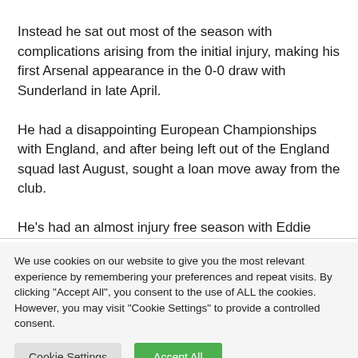Instead he sat out most of the season with complications arising from the initial injury, making his first Arsenal appearance in the 0-0 draw with Sunderland in late April.
He had a disappointing European Championships with England, and after being left out of the England squad last August, sought a loan move away from the club.
He's had an almost injury free season with Eddie Howe's side
We use cookies on our website to give you the most relevant experience by remembering your preferences and repeat visits. By clicking "Accept All", you consent to the use of ALL the cookies. However, you may visit "Cookie Settings" to provide a controlled consent.
Cookie Settings | Accept All